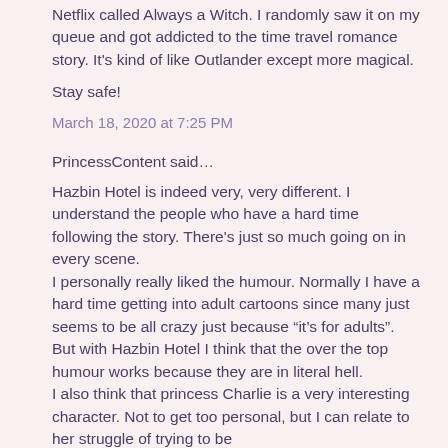Netflix called Always a Witch. I randomly saw it on my queue and got addicted to the time travel romance story. It's kind of like Outlander except more magical.
Stay safe!
March 18, 2020 at 7:25 PM
PrincessContent said…
Hazbin Hotel is indeed very, very different. I understand the people who have a hard time following the story. There's just so much going on in every scene.
I personally really liked the humour. Normally I have a hard time getting into adult cartoons since many just seems to be all crazy just because “it’s for adults”.
But with Hazbin Hotel I think that the over the top humour works because they are in literal hell.
I also think that princess Charlie is a very interesting character. Not to get too personal, but I can relate to her struggle of trying to be